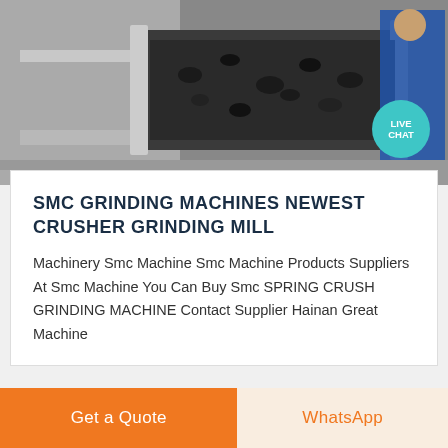[Figure (photo): Industrial conveyor belt carrying dark crushed material/ore in a mining or crushing facility. A worker in blue is visible on the right side. The image shows machinery and processing equipment.]
SMC GRINDING MACHINES NEWEST CRUSHER GRINDING MILL
Machinery Smc Machine Smc Machine Products Suppliers At Smc Machine You Can Buy Smc SPRING CRUSH GRINDING MACHINE Contact Supplier Hainan Great Machine
Get a Quote
WhatsApp